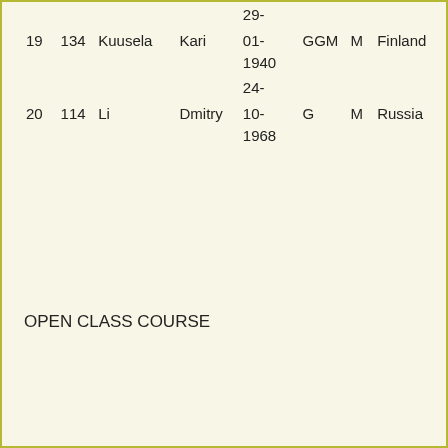| Rank | Num | Last | First | DOB | Cat | Sex | Nat |
| --- | --- | --- | --- | --- | --- | --- | --- |
| 19 | 134 | Kuusela | Kari | 01-1940 | GGM | M | Finland |
| 20 | 114 | Li | Dmitry | 24-10-1968 | G | M | Russia |
OPEN CLASS COURSE